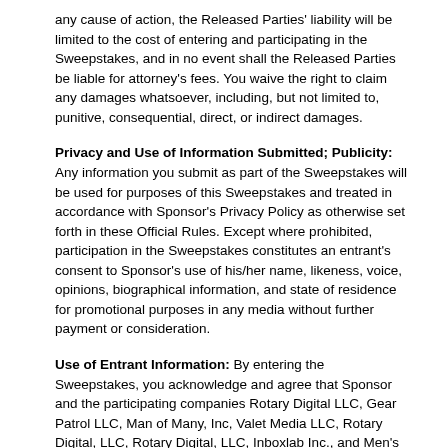any cause of action, the Released Parties' liability will be limited to the cost of entering and participating in the Sweepstakes, and in no event shall the Released Parties be liable for attorney's fees. You waive the right to claim any damages whatsoever, including, but not limited to, punitive, consequential, direct, or indirect damages.
Privacy and Use of Information Submitted; Publicity: Any information you submit as part of the Sweepstakes will be used for purposes of this Sweepstakes and treated in accordance with Sponsor's Privacy Policy as otherwise set forth in these Official Rules. Except where prohibited, participation in the Sweepstakes constitutes an entrant's consent to Sponsor's use of his/her name, likeness, voice, opinions, biographical information, and state of residence for promotional purposes in any media without further payment or consideration.
Use of Entrant Information: By entering the Sweepstakes, you acknowledge and agree that Sponsor and the participating companies Rotary Digital LLC, Gear Patrol LLC, Man of Many, Inc, Valet Media LLC, Rotary Digital, LLC, Rotary Digital, LLC, Inboxlab Inc., and Men's Health, a Rodale Inc publication will use Entrant's information, including, without limitation, your email address, phone number, mailing address, or any other contact information provided for general solicitation, marketing, or other business or promotional activities in connection with the services and products provided by Sponsor or the participating companies. You may at any time revoke the use of such information by providing written notice to Sponsor and each other participating company using the following addresses or by responding to a marketing email using the unsubscribe